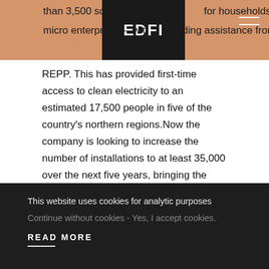than 3,500 solar home s... for households and micro enterprises – wit... nding assistance from REPP. This has provided first-time access to clean electricity to an estimated 17,500 people in five of the country's northern regions.Now the company is looking to increase the number of installations to at least 35,000 over the next five years, bringing the total number of people getting first-time clean energy access to over 150,000.
The loan syndication is a $10m senior debt facility with a five-year tenor that will enable PAS Solar's expansion plans by
This website uses cookies for analytic purposes
Continue without cookies - Yes, I accept cookies.
READ MORE